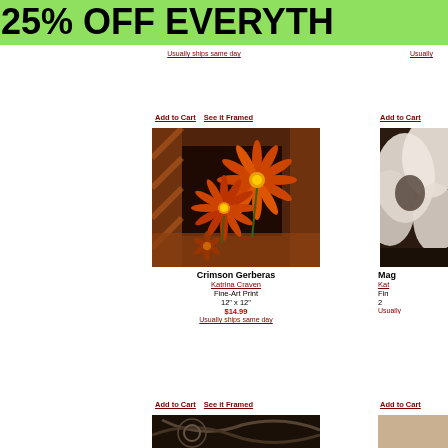25% OFF EVERYTH
Usually ships same day
Usually
Add to Cart   See it Framed
Add to Cart
[Figure (photo): Fine art print of crimson gerbera daisies collage with dark background]
[Figure (photo): Partial fine art print of white magnolia flower on dark background]
Crimson Gerberas
Katrina Craven
Fine-Art Print
12" x 12"
$14.99
Usually ships same day
Mag
Kat
Fin
2
Usually
Add to Cart   See it Framed
Add to Cart
[Figure (photo): Bottom partial image, dark with curved lines]